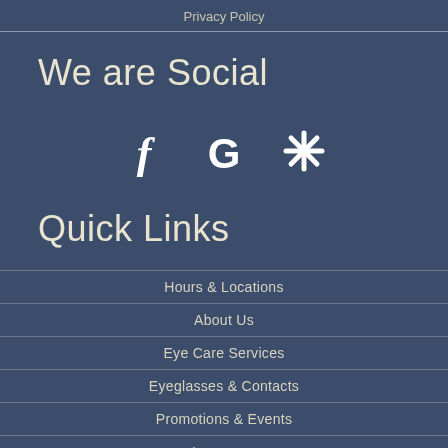Privacy Policy
We are Social
[Figure (illustration): Three social media icons: Facebook (f), Google (G), and Yelp (asterisk/star icon), displayed in white on dark blue background]
Quick Links
Hours & Locations
About Us
Eye Care Services
Eyeglasses & Contacts
Promotions & Events
Insurance